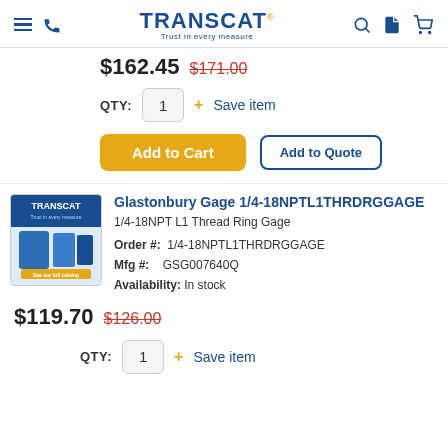TRANSCAT - Trust in every measure
$162.45  $171.00
QTY: 1  + Save item
Add to Cart  Add to Quote
[Figure (photo): TRANSCAT product catalog image showing various measurement instruments]
Glastonbury Gage 1/4-18NPTL1THRDRGGAGE
1/4-18NPT L1 Thread Ring Gage
Order #: 1/4-18NPTL1THRDRGGAGE
Mfg #: GSG007640Q
Availability: In stock
$119.70  $126.00
QTY: 1  + Save item